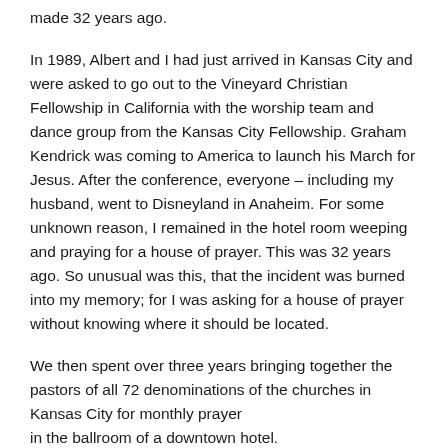made 32 years ago.
In 1989, Albert and I had just arrived in Kansas City and were asked to go out to the Vineyard Christian Fellowship in California with the worship team and dance group from the Kansas City Fellowship. Graham Kendrick was coming to America to launch his March for Jesus. After the conference, everyone – including my husband, went to Disneyland in Anaheim. For some unknown reason, I remained in the hotel room weeping and praying for a house of prayer. This was 32 years ago. So unusual was this, that the incident was burned into my memory; for I was asking for a house of prayer without knowing where it should be located.
We then spent over three years bringing together the pastors of all 72 denominations of the churches in Kansas City for monthly prayer
in the ballroom of a downtown hotel.
After our work was finished in Kansas City, we took a year off, and then planned to go to Florida where our friend